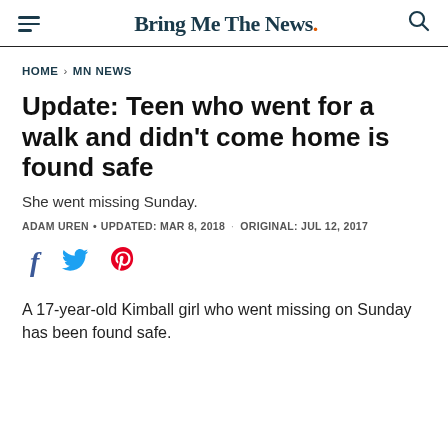Bring Me The News.
HOME > MN NEWS
Update: Teen who went for a walk and didn't come home is found safe
She went missing Sunday.
ADAM UREN • UPDATED: MAR 8, 2018 · ORIGINAL: JUL 12, 2017
[Figure (other): Social share icons: Facebook, Twitter, Pinterest]
A 17-year-old Kimball girl who went missing on Sunday has been found safe.